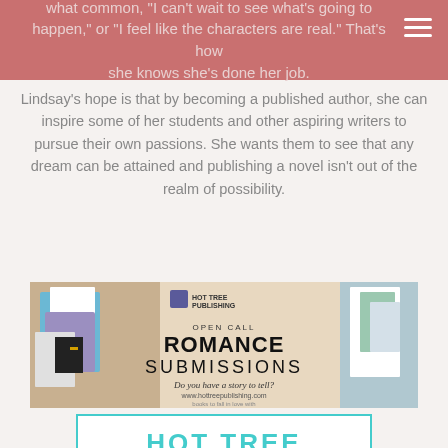what common, 'I can't wait to see what's going to happen,' or 'I feel like the characters are real.' That's how she knows she's done her job.
Lindsay's hope is that by becoming a published author, she can inspire some of her students and other aspiring writers to pursue their own passions. She wants them to see that any dream can be attained and publishing a novel isn't out of the realm of possibility.
[Figure (photo): Hot Tree Publishing banner: Open Call Romance Submissions - Do you have a story to tell? www.hottreepublishing.com books to fall in love with]
[Figure (logo): Hot Tree Promotions logo with teal house/tree icon and text: Cover, Trailer, Blurb, Teaser Reveals,]